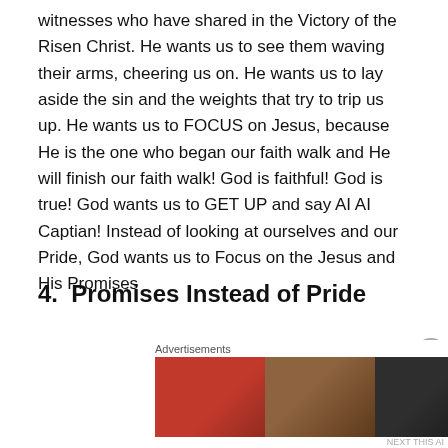witnesses who have shared in the Victory of the Risen Christ. He wants us to see them waving their arms, cheering us on. He wants us to lay aside the sin and the weights that try to trip us up. He wants us to FOCUS on Jesus, because He is the one who began our faith walk and He will finish our faith walk! God is faithful! God is true! God wants us to GET UP and say AI AI Captian! Instead of looking at ourselves and our Pride, God wants us to Focus on the Jesus and His Promises
4.  Promises Instead of Pride
It's one thing to suffer a defeat, but it's quite another to let
[Figure (other): Ulta Beauty advertisement banner showing makeup/beauty photos with SHOP NOW call to action]